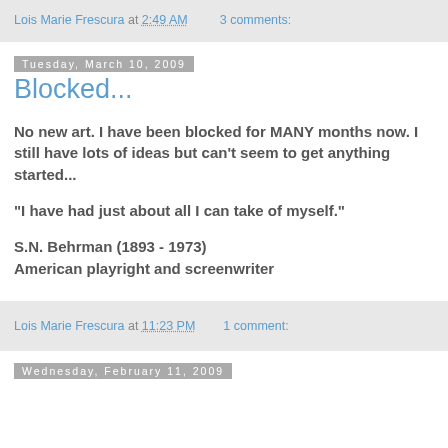Lois Marie Frescura at 2:49 AM    3 comments:
Tuesday, March 10, 2009
Blocked...
No new art. I have been blocked for MANY months now. I still have lots of ideas but can't seem to get anything started...
"I have had just about all I can take of myself."
S.N. Behrman (1893 - 1973)
American playright and screenwriter
Lois Marie Frescura at 11:23 PM    1 comment:
Wednesday, February 11, 2009